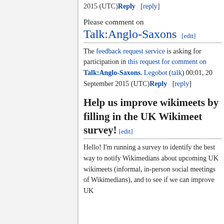2015 (UTC) Reply [reply]
Please comment on Talk:Anglo-Saxons [edit]
The feedback request service is asking for participation in this request for comment on Talk:Anglo-Saxons. Legobot (talk) 00:01, 20 September 2015 (UTC) Reply [reply]
Help us improve wikimeets by filling in the UK Wikimeet survey! [edit]
Hello! I'm running a survey to identify the best way to notify Wikimedians about upcoming UK wikimeets (informal, in-person social meetings of Wikimedians), and to see if we can improve UK